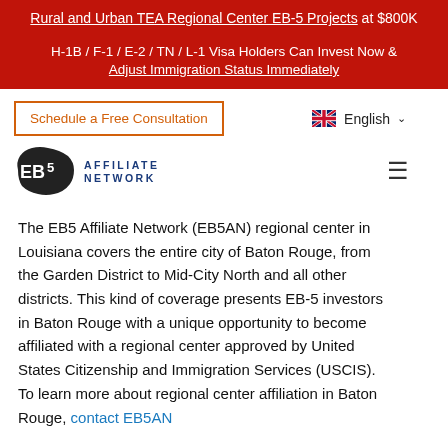Rural and Urban TEA Regional Center EB-5 Projects at $800K H-1B / F-1 / E-2 / TN / L-1 Visa Holders Can Invest Now & Adjust Immigration Status Immediately
[Figure (logo): Schedule a Free Consultation button, English language selector with UK flag, EB5 Affiliate Network logo with US map silhouette, hamburger menu icon]
The EB5 Affiliate Network (EB5AN) regional center in Louisiana covers the entire city of Baton Rouge, from the Garden District to Mid-City North and all other districts. This kind of coverage presents EB-5 investors in Baton Rouge with a unique opportunity to become affiliated with a regional center approved by United States Citizenship and Immigration Services (USCIS). To learn more about regional center affiliation in Baton Rouge, contact EB5AN